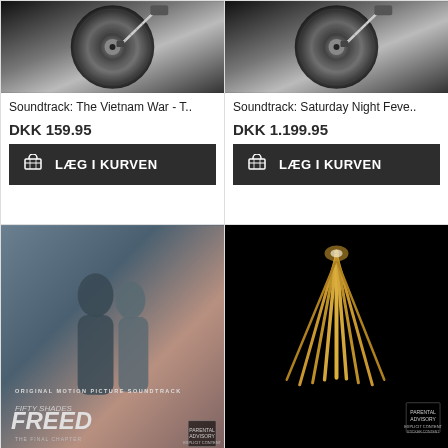[Figure (photo): Black and white photo of vinyl record with needle, top-left product card]
Soundtrack: The Vietnam War - T..
DKK 159.95
[Figure (photo): Black and white photo of vinyl record with needle, top-right product card]
Soundtrack: Saturday Night Feve..
DKK 1.199.95
[Figure (photo): Fifty Shades Freed original motion picture soundtrack album cover showing couple embracing]
Soundtrack: Fifty Shades Freed (..
[Figure (photo): Black Panther soundtrack album cover - golden claw marks on black background]
SPIN HJULET OG VIND 10% RABAT